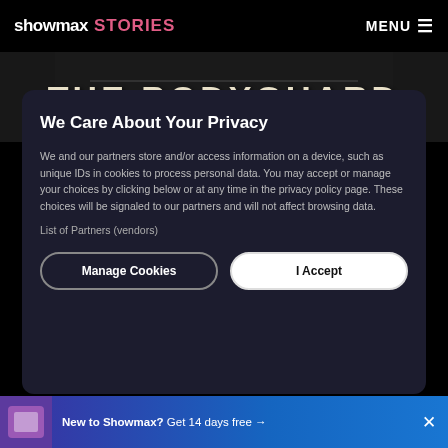showmax STORIES   MENU
[Figure (screenshot): The Bodyguard movie/show banner image in background]
We Care About Your Privacy
We and our partners store and/or access information on a device, such as unique IDs in cookies to process personal data. You may accept or manage your choices by clicking below or at any time in the privacy policy page. These choices will be signaled to our partners and will not affect browsing data.
List of Partners (vendors)
Manage Cookies   I Accept
New to Showmax? Get 14 days free →